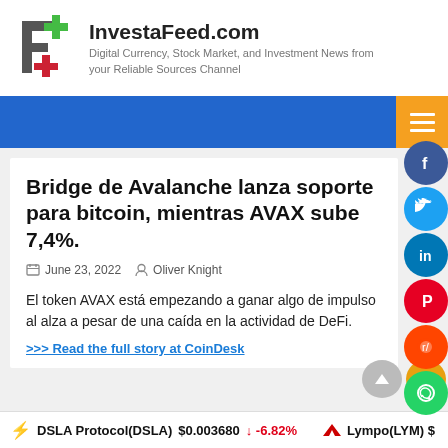[Figure (logo): InvestaFeed logo: green and red F+ symbol]
InvestaFeed.com
Digital Currency, Stock Market, and Investment News from your Reliable Sources Channel
Bridge de Avalanche lanza soporte para bitcoin, mientras AVAX sube 7,4%.
June 23, 2022   Oliver Knight
El token AVAX está empezando a ganar algo de impulso al alza a pesar de una caída en la actividad de DeFi.
>>> Read the full story at CoinDesk
DSLA Protocol(DSLA) $0.003680 ↓ -6.82%   Lympo(LYM) $